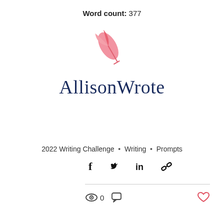Word count: 377
[Figure (logo): AllisonWrote logo with a pink feather quill above the text 'AllisonWrote' in dark navy serif font]
2022 Writing Challenge • Writing • Prompts
[Figure (infographic): Social share icons: Facebook, Twitter, LinkedIn, and a link/chain icon]
0
[Figure (infographic): Eye icon (views), chat bubble icon (comments), and heart icon (likes)]